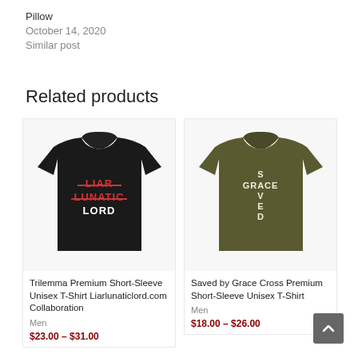Pillow
October 14, 2020
Similar post
Related products
[Figure (photo): Black t-shirt with 'Liar Lunatic Lord' text where Liar and Lunatic are crossed out in red]
Trilemma Premium Short-Sleeve Unisex T-Shirt Liarlunaticlord.com Collaboration
Men
$23.00 – $31.00
[Figure (photo): Olive/army green t-shirt with 'Saved by Grace' cross word design in white]
Saved by Grace Cross Premium Short-Sleeve Unisex T-Shirt
Men
$18.00 – $26.00